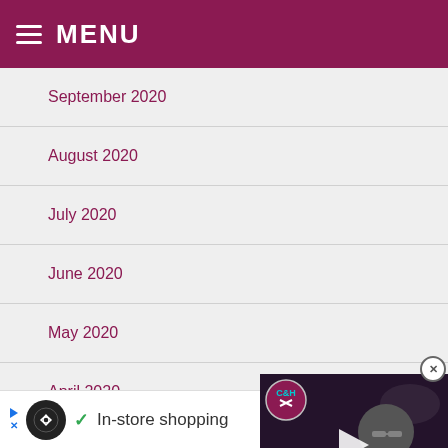MENU
September 2020
August 2020
July 2020
June 2020
May 2020
April 2020
March 2020
[Figure (screenshot): Video thumbnail showing a man with glasses in a dark setting, with C&H logo, a play button overlay, and text 'IRONS on BRIGHTON' at the bottom]
In-store shopping